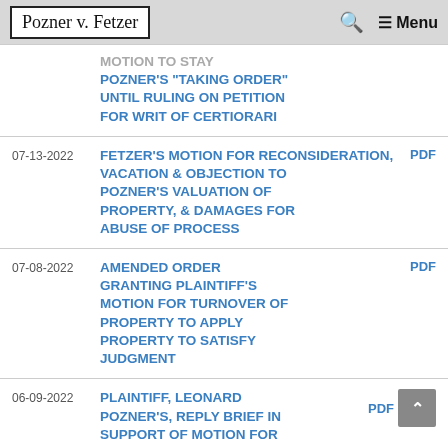Pozner v. Fetzer | Search | Menu
| Date | Title | PDF |
| --- | --- | --- |
|  | MOTION TO STAY POZNER'S "TAKING ORDER" UNTIL RULING ON PETITION FOR WRIT OF CERTIORARI |  |
| 07-13-2022 | FETZER'S MOTION FOR RECONSIDERATION, VACATION & OBJECTION TO POZNER'S VALUATION OF PROPERTY, & DAMAGES FOR ABUSE OF PROCESS | PDF |
| 07-08-2022 | AMENDED ORDER GRANTING PLAINTIFF'S MOTION FOR TURNOVER OF PROPERTY TO APPLY PROPERTY TO SATISFY JUDGMENT | PDF |
| 06-09-2022 | PLAINTIFF, LEONARD POZNER'S, REPLY BRIEF IN SUPPORT OF MOTION FOR | PDF |